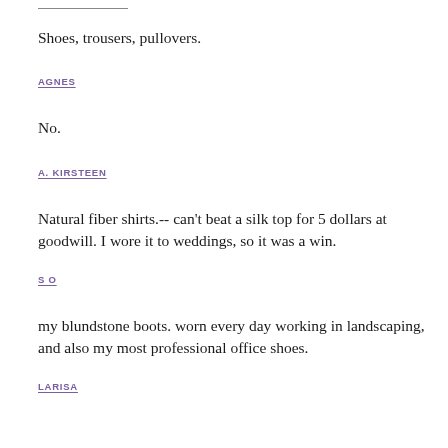Shoes, trousers, pullovers.
AGNES
No.
A. KIRSTEEN
Natural fiber shirts.-- can't beat a silk top for 5 dollars at goodwill. I wore it to weddings, so it was a win.
S O
my blundstone boots. worn every day working in landscaping, and also my most professional office shoes.
LARISA